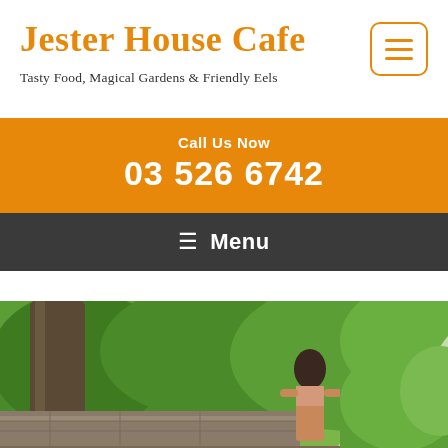Jester House Cafe
Tasty Food, Magical Gardens & Friendly Eels
Call Us Now
03 526 6742
☰ Menu
[Figure (photo): Outdoor garden scene with a woman standing near a stone fountain and hedges forming an archway, green lush vegetation in background]